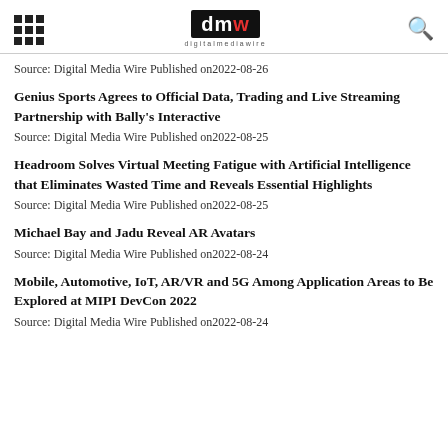digitalmediawire
Source: Digital Media Wire Published on2022-08-26
Genius Sports Agrees to Official Data, Trading and Live Streaming Partnership with Bally's Interactive
Source: Digital Media Wire Published on2022-08-25
Headroom Solves Virtual Meeting Fatigue with Artificial Intelligence that Eliminates Wasted Time and Reveals Essential Highlights
Source: Digital Media Wire Published on2022-08-25
Michael Bay and Jadu Reveal AR Avatars
Source: Digital Media Wire Published on2022-08-24
Mobile, Automotive, IoT, AR/VR and 5G Among Application Areas to Be Explored at MIPI DevCon 2022
Source: Digital Media Wire Published on2022-08-24